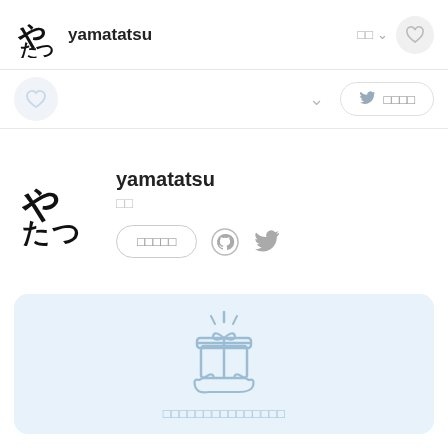yamatatsu
yamatatsu
□□
□□□□□
[Figure (illustration): Gift box with sparkles held by hand, light blue outline icon]
□□□□□□□□□□□□□□□